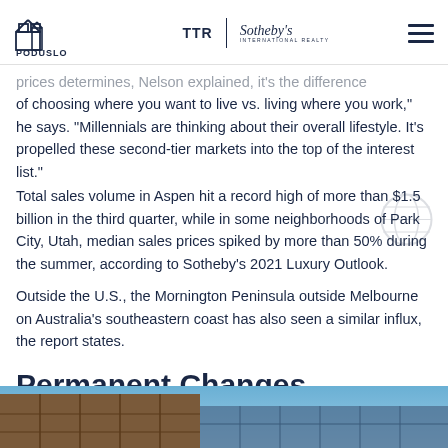PODUSLO GROUP | TTR | Sotheby's International Realty
prices determines, Nelson explained, it's the difference of choosing where you want to live vs. living where you work," he says. "Millennials are thinking about their overall lifestyle. It's propelled these second-tier markets into the top of the interest list."
Total sales volume in Aspen hit a record high of more than $1.5 billion in the third quarter, while in some neighborhoods of Park City, Utah, median sales prices spiked by more than 50% during the summer, according to Sotheby's 2021 Luxury Outlook.
Outside the U.S., the Mornington Peninsula outside Melbourne on Australia's southeastern coast has also seen a similar influx, the report states.
Permanent Changes
[Figure (photo): Bottom strip showing exterior of a building with blue sky and wooden/brick facade]